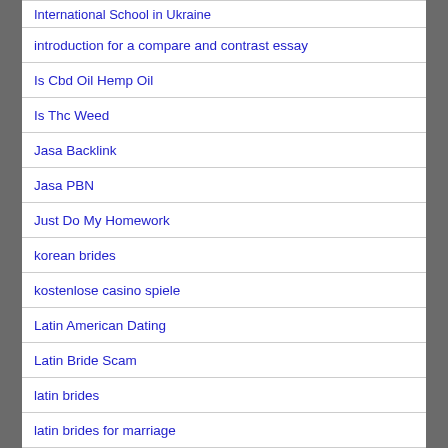International School in Ukraine
introduction for a compare and contrast essay
Is Cbd Oil Hemp Oil
Is Thc Weed
Jasa Backlink
Jasa PBN
Just Do My Homework
korean brides
kostenlose casino spiele
Latin American Dating
Latin Bride Scam
latin brides
latin brides for marriage
Latin Brides Gallery
Latin Girls